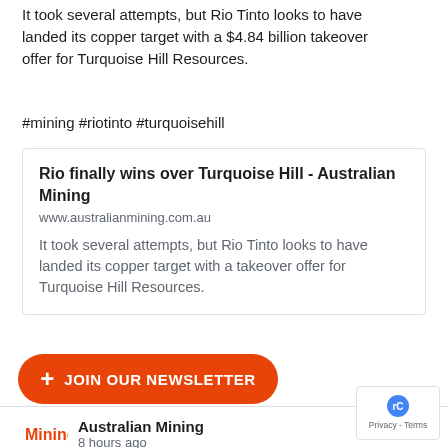It took several attempts, but Rio Tinto looks to have landed its copper target with a $4.84 billion takeover offer for Turquoise Hill Resources.
#mining #riotinto #turquoisehill
[Figure (screenshot): Link preview card: 'Rio finally wins over Turquoise Hill - Australian Mining', www.australianmining.com.au, with description text.]
View on Facebook  ·  Share
[Figure (logo): Australian Mining logo - red 'Mining' text on white background]
Australian Mining
8 hours ago
Thiess has been appointed mining services provider for the Iron Bridge project in Western Australia.
#mining #thiess #ironbridge
[Figure (screenshot): Partial link card: '...contract - Australian Mining', www.australianmining.com.au]
[Figure (infographic): JOIN OUR NEWSLETTER orange button with plus icon]
[Figure (other): Privacy - Terms reCAPTCHA badge]